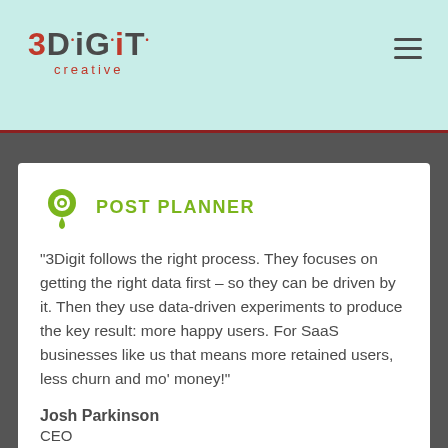3DiGiT creative
[Figure (logo): Post Planner green map pin logo icon]
POST PLANNER
"3Digit follows the right process. They focuses on getting the right data first – so they can be driven by it. Then they use data-driven experiments to produce the key result: more happy users. For SaaS businesses like us that means more retained users, less churn and mo' money!"
Josh Parkinson
CEO